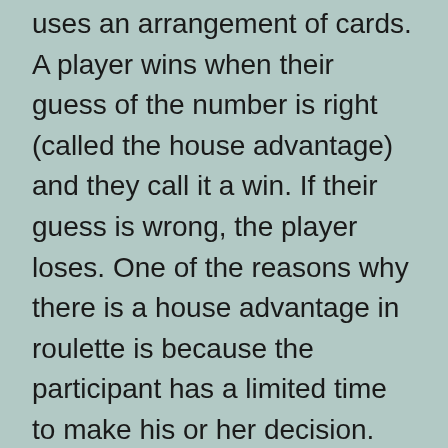uses an arrangement of cards. A player wins when their guess of the number is right (called the house advantage) and they call it a win. If their guess is wrong, the player loses. One of the reasons why there is a house advantage in roulette is because the participant has a limited time to make his or her decision.
The house edge is the difference between expected revenue and actual revenue. The term “house” is used because the casino pays the expenses of conducting the game, even though the casino room itself does not generate the profit or loss. In most casino